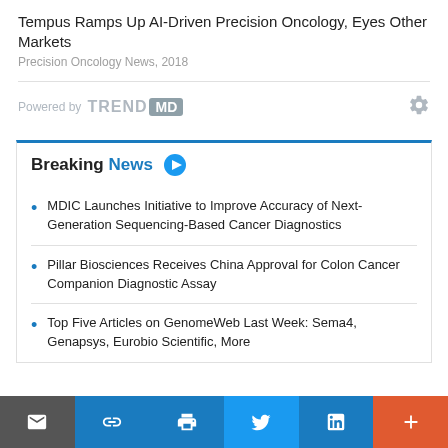Tempus Ramps Up AI-Driven Precision Oncology, Eyes Other Markets
Precision Oncology News, 2018
[Figure (logo): Powered by TRENDMD logo with gear settings icon]
Breaking News
MDIC Launches Initiative to Improve Accuracy of Next-Generation Sequencing-Based Cancer Diagnostics
Pillar Biosciences Receives China Approval for Colon Cancer Companion Diagnostic Assay
Top Five Articles on GenomeWeb Last Week: Sema4, Genapsys, Eurobio Scientific, More
Mail | Share | Print | Twitter | LinkedIn | Plus